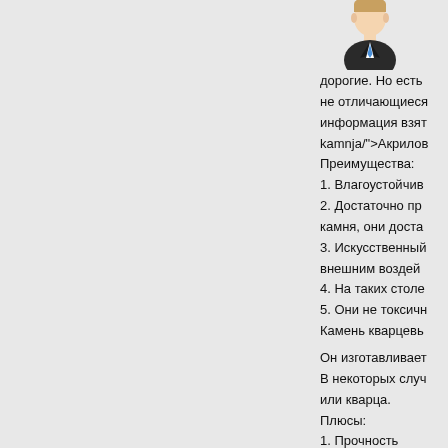[Figure (illustration): Avatar icon of a person in business suit with blue tie]
дорогие. Но есть не отличающиеся информация взят kamnja/">Акрилов Преимущества:
1. Влагоустойчив
2. Достаточно пр камня, они доста
3. Искусственный внешним воздей
4. На таких столе
5. Они не токсичн
Камень кварцевь
Он изготавливает В некоторых случ или кварца. Плюсы:
1. Прочность
2. Влагонепрониц
3. Устойчив к пер
4. Неприхотлив в средства.
Минус:
1. Не подлежит р
2. Холодная пове
Акриловый
Состоит из натур Преимущества:
1. П...